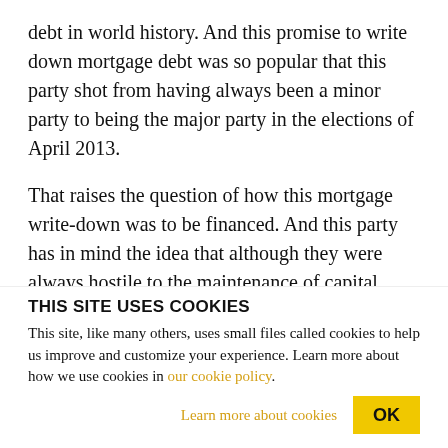debt in world history. And this promise to write down mortgage debt was so popular that this party shot from having always been a minor party to being the major party in the elections of April 2013.
That raises the question of how this mortgage write-down was to be financed. And this party has in mind the idea that although they were always hostile to the maintenance of capital controls, they suddenly began to see that there was merit in maintaining the capital controls, that is, maintaining a whole lot of capital
THIS SITE USES COOKIES
This site, like many others, uses small files called cookies to help us improve and customize your experience. Learn more about how we use cookies in our cookie policy.
Learn more about cookies